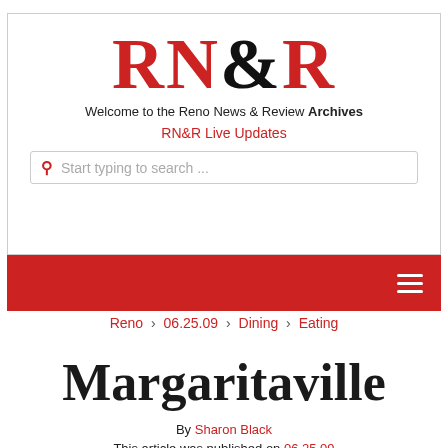[Figure (logo): RN&R logo with red lettering for RN and R, black ampersand]
Welcome to the Reno News & Review Archives
RN&R Live Updates
Start typing to search ...
Navigation menu bar (red background with hamburger icon)
Reno › 06.25.09 › Dining › Eating
Margaritaville
By Sharon Black
This article was published on 06.25.09